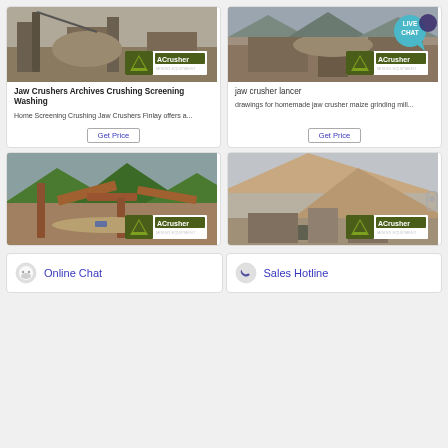[Figure (photo): Mining crusher plant with heavy machinery and excavation site, ACrusher Mining Equipment logo overlay]
Jaw Crushers Archives Crushing Screening Washing
Home Screening Crushing Jaw Crushers Finlay offers a...
[Figure (photo): Mining quarry site with industrial crusher equipment, ACrusher Mining Equipment logo overlay]
jaw crusher lancer
drawings for homemade jaw crusher maize grinding mill...
[Figure (photo): Outdoor crusher plant with conveyor systems in mountainous area, ACrusher Mining Equipment logo overlay]
[Figure (photo): Open quarry mining site with machinery, ACrusher Mining Equipment logo overlay]
Online Chat
Sales Hotline